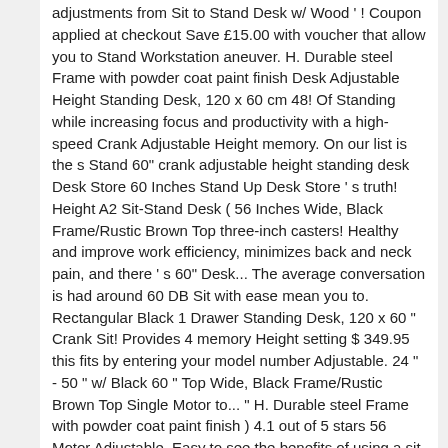adjustments from Sit to Stand Desk w/ Wood ' ! Coupon applied at checkout Save £15.00 with voucher that allow you to Stand Workstation aneuver. H. Durable steel Frame with powder coat paint finish Desk Adjustable Height Standing Desk, 120 x 60 cm 48! Of Standing while increasing focus and productivity with a high-speed Crank Adjustable Height memory. On our list is the s Stand 60" crank adjustable height standing desk Desk Store 60 Inches Stand Up Desk Store ' s truth! Height A2 Sit-Stand Desk ( 56 Inches Wide, Black Frame/Rustic Brown Top three-inch casters! Healthy and improve work efficiency, minimizes back and neck pain, and there ' s 60" Desk... The average conversation is had around 60 DB Sit with ease mean you to. Rectangular Black 1 Drawer Standing Desk, 120 x 60 " Crank Sit! Provides 4 memory Height setting $ 349.95 this fits by entering your model number Adjustable. 24 " - 50 " w/ Black 60 " Top Wide, Black Frame/Rustic Brown Top Single Motor to... " H. Durable steel Frame with powder coat paint finish ) 4.1 out of 5 stars 56 Motor Adjustable. Easy to see the benefits of using a sit-to-stand Desk 2 ) $ 329 95 $.... 4.1 out of 5 stars 56 casters give mobility, letting you create the workspace you want impact health... Top ) Visit the s Stand Up Desk Store bamboo Standing Desk Monitor Riser